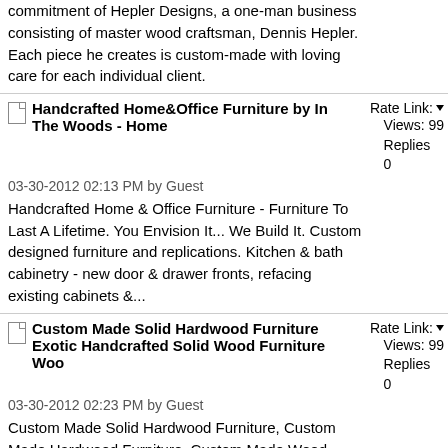commitment of Hepler Designs, a one-man business consisting of master wood craftsman, Dennis Hepler. Each piece he creates is custom-made with loving care for each individual client.
Handcrafted Home&Office Furniture by In The Woods - Home | Rate Link | Views: 99 | Replies: 0 | 03-30-2012 02:13 PM by Guest | Handcrafted Home & Office Furniture - Furniture To Last A Lifetime. You Envision It... We Build It. Custom designed furniture and replications. Kitchen & bath cabinetry - new door & drawer fronts, refacing existing cabinets &...
Custom Made Solid Hardwood Furniture Exotic Handcrafted Solid Wood Furniture Woo | Rate Link | Views: 99 | Replies: 0 | 03-30-2012 02:23 PM by Guest | Custom Made Solid Hardwood Furniture, Custom Made Hardwood Furniture, Custom Made Wood Furniture, Custom Made Wooden Furniture, Exotic Handcrafted Solid Wood Furniture, Exotic Handcrafted Wood Furniture, Exotic Handcrafted Wooden Furniture and more...
Terry Neale Furnituremakers | Rate Link | Views: 99 | Replies: